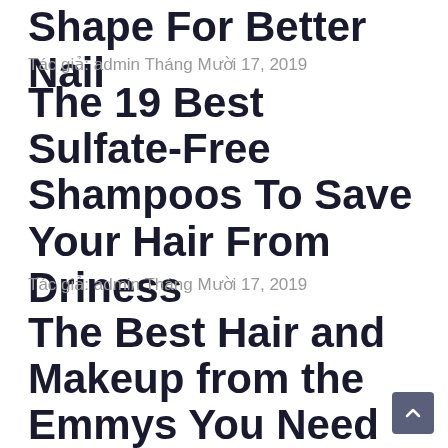Shape For Better Nail
Tác giả: admin Tháng Mười 17, 2019
The 19 Best Sulfate-Free Shampoos To Save Your Hair From Driness
Tác giả: admin Tháng Mười 17, 2019
The Best Hair and Makeup from the Emmys You Need To See Right